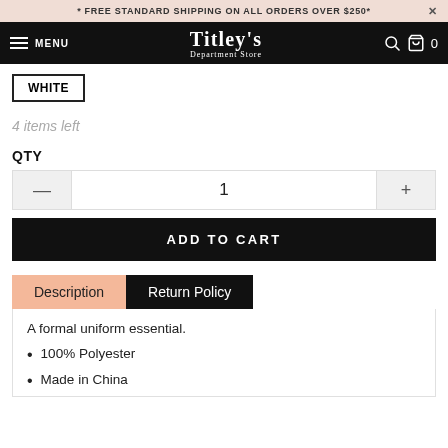* FREE STANDARD SHIPPING ON ALL ORDERS OVER $250*
TITLEY'S Department Store  MENU  0
WHITE
4 items left
QTY
1
ADD TO CART
Description  Return Policy
A formal uniform essential.
100% Polyester
Made in China